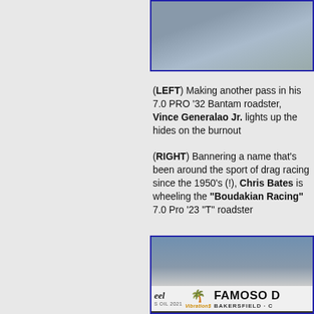[Figure (photo): Photo of a car making a pass on a drag strip, cropped at top right of page]
(LEFT) Making another pass in his 7.0 PRO '32 Bantam roadster, Vince Generalao Jr. lights up the hides on the burnout
(RIGHT) Bannering a name that's been around the sport of drag racing since the 1950's (!), Chris Bates is wheeling the "Boudakian Racing" 7.0 Pro '23 "T" roadster
[Figure (photo): Photo of a drag racing event at Famoso Raceway in Bakersfield, showing banner signage including 'FAMOSO' and 'BAKERSFIELD']